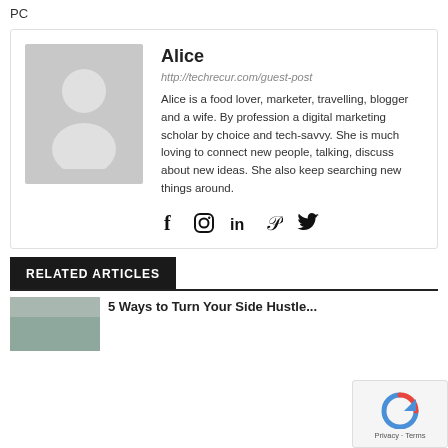PC
[Figure (illustration): Author profile card for Alice with avatar placeholder, name, URL, bio, and social media icons (Facebook, Instagram, LinkedIn, Pinterest, Twitter)]
RELATED ARTICLES
[Figure (photo): Thumbnail image for a related article, partially visible at the bottom]
5 Ways to Turn Your Side Hustle...